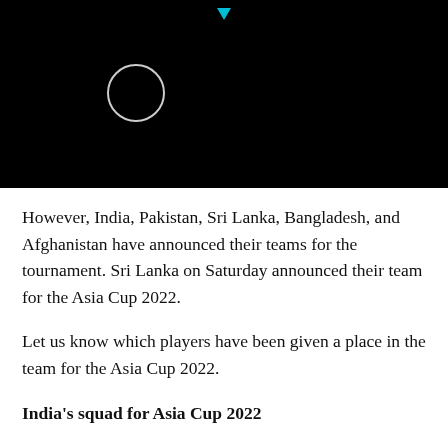[Figure (screenshot): Black video player area with a circular play button outline and a small cyan triangle/play indicator at the top center]
However, India, Pakistan, Sri Lanka, Bangladesh, and Afghanistan have announced their teams for the tournament. Sri Lanka on Saturday announced their team for the Asia Cup 2022.
Let us know which players have been given a place in the team for the Asia Cup 2022.
India's squad for Asia Cup 2022
Rohit Sharma (Captain), KL Rahul (vice-captain), Virat Kohli, Suryakumar Yadav, Deepak Hooda, Rishabh Pant (wicket-keeper), Dinesh Karthik (wicket-keeper), Hardik